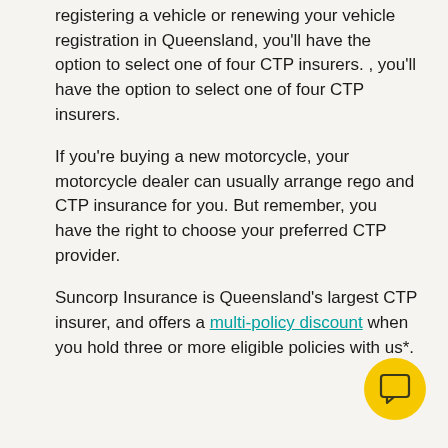registering a vehicle or renewing your vehicle registration in Queensland, you'll have the option to select one of four CTP insurers. , you'll have the option to select one of four CTP insurers.
If you're buying a new motorcycle, your motorcycle dealer can usually arrange rego and CTP insurance for you. But remember, you have the right to choose your preferred CTP provider.
Suncorp Insurance is Queensland's largest CTP insurer, and offers a multi-policy discount when you hold three or more eligible policies with us*.
[Figure (other): Yellow circular chat/comment button icon in bottom right corner]